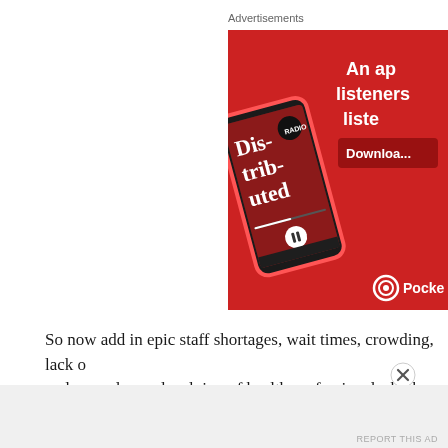Advertisements
[Figure (photo): A red advertisement banner for Pocket Casts podcast app. Shows a smartphone displaying 'Dis-trib-uted' podcast episode with playback controls. Text reads 'An app listeners listen' and 'Download' button visible. Pocket Casts logo at bottom right.]
So now add in epic staff shortages, wait times, crowding, lack o and procedures, devaluing of health professionals, high costs of
Advertisements
REPORT THIS AD